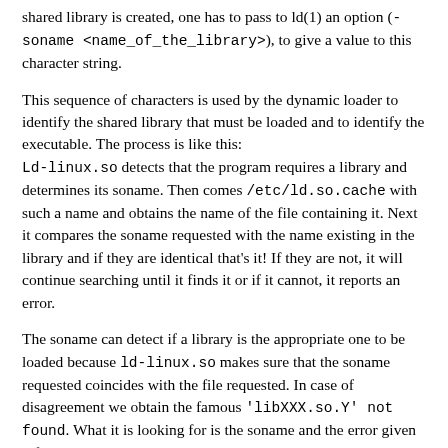shared library is created, one has to pass to ld(1) an option (-soname <name_of_the_library>), to give a value to this character string.
This sequence of characters is used by the dynamic loader to identify the shared library that must be loaded and to identify the executable. The process is like this: Ld-linux.so detects that the program requires a library and determines its soname. Then comes /etc/ld.so.cache with such a name and obtains the name of the file containing it. Next it compares the soname requested with the name existing in the library and if they are identical that's it! If they are not, it will continue searching until it finds it or if it cannot, it reports an error.
The soname can detect if a library is the appropriate one to be loaded because ld-linux.so makes sure that the soname requested coincides with the file requested. In case of disagreement we obtain the famous 'libXXX.so.Y' not found. What it is looking for is the soname and the error given refers to the soname.
This can cause a lot of confusion when we change the name of a library and the problem persists. But it is not a good idea to access the soname and change it because there is a convention in the Linux community for assigning soname: